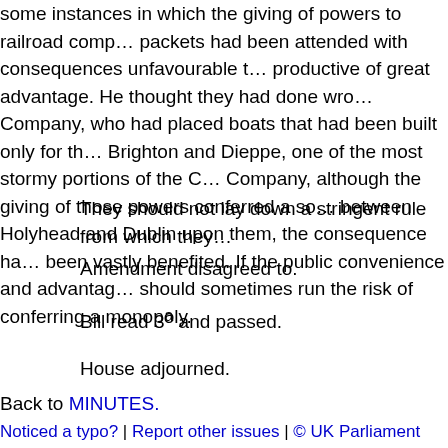some instances in which the giving of powers to railroad comp… packets had been attended with consequences unfavourable t… productive of great advantage. He thought they had done wro… Company, who had placed boats that had been built only for th… Brighton and Dieppe, one of the most stormy portions of the C… Company, although the giving of those powers conferred a so… between Holyhead and Dublin upon them, the consequence ha… been vastly benefited. If the public convenience and advantag… should sometimes run the risk of conferring a monopoly.
They should not lay down a stringent rule from which they…
Amendment disagreed to.
Bill read 3ª and passed.
House adjourned.
Back to MINUTES.
Noticed a typo? | Report other issues | © UK Parliament